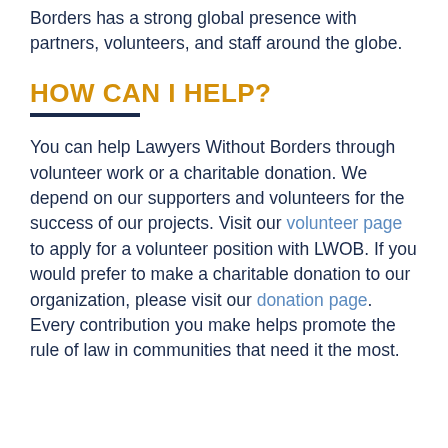Borders has a strong global presence with partners, volunteers, and staff around the globe.
HOW CAN I HELP?
You can help Lawyers Without Borders through volunteer work or a charitable donation. We depend on our supporters and volunteers for the success of our projects. Visit our volunteer page to apply for a volunteer position with LWOB. If you would prefer to make a charitable donation to our organization, please visit our donation page. Every contribution you make helps promote the rule of law in communities that need it the most.